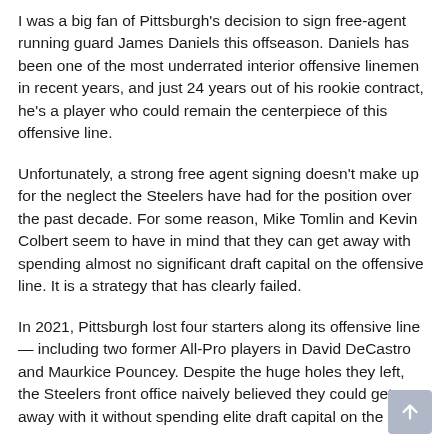I was a big fan of Pittsburgh's decision to sign free-agent running guard James Daniels this offseason. Daniels has been one of the most underrated interior offensive linemen in recent years, and just 24 years out of his rookie contract, he's a player who could remain the centerpiece of this offensive line.
Unfortunately, a strong free agent signing doesn't make up for the neglect the Steelers have had for the position over the past decade. For some reason, Mike Tomlin and Kevin Colbert seem to have in mind that they can get away with spending almost no significant draft capital on the offensive line. It is a strategy that has clearly failed.
In 2021, Pittsburgh lost four starters along its offensive line — including two former All-Pro players in David DeCastro and Maurkice Pouncey. Despite the huge holes they left, the Steelers front office naively believed they could get away with it without spending elite draft capital on the OL.
In a 2021 NFL Draft crowded with offensive line talent in the